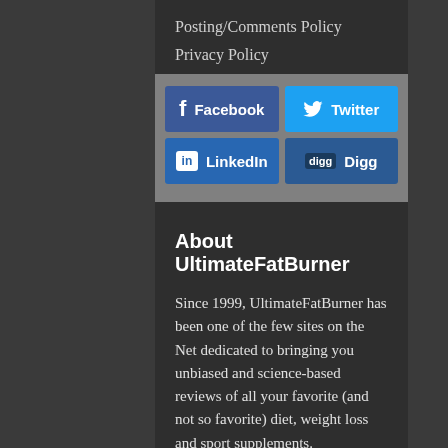Posting/Comments Policy
Privacy Policy
[Figure (screenshot): Social media sharing buttons: Facebook, Twitter, LinkedIn, Digg]
About UltimateFatBurner
Since 1999, UltimateFatBurner has been one of the few sites on the Net dedicated to bringing you unbiased and science-based reviews of all your favorite (and not so favorite) diet, weight loss and sport supplements.
Unbiased, of course, means we're not owned by a supplement company or affiliated with anyone in